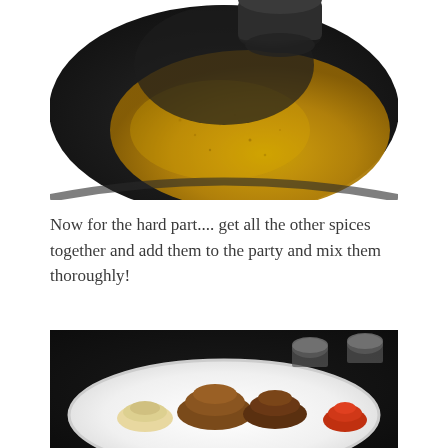[Figure (photo): Close-up of a mortar and pestle grinding yellow spice powder (turmeric), viewed from above showing the stone pestle and golden-yellow powdered spice in the mortar bowl.]
Now for the hard part.... get all the other spices together and add them to the party and mix them thoroughly!
[Figure (photo): A white plate on a dark surface with several small piles of different ground spices including beige, brown, and orange-red powders, with small metal measuring cups visible in the background.]